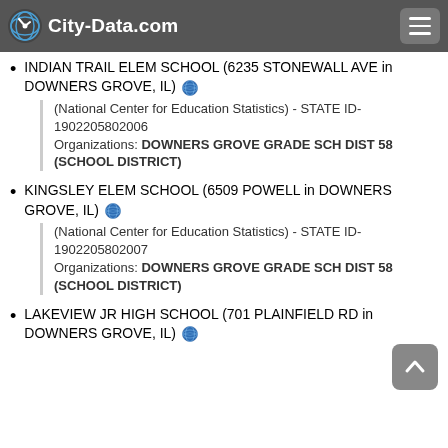City-Data.com
INDIAN TRAIL ELEM SCHOOL (6235 STONEWALL AVE in DOWNERS GROVE, IL)
(National Center for Education Statistics) - STATE ID-1902205802006
Organizations: DOWNERS GROVE GRADE SCH DIST 58 (SCHOOL DISTRICT)
KINGSLEY ELEM SCHOOL (6509 POWELL in DOWNERS GROVE, IL)
(National Center for Education Statistics) - STATE ID-1902205802007
Organizations: DOWNERS GROVE GRADE SCH DIST 58 (SCHOOL DISTRICT)
LAKEVIEW JR HIGH SCHOOL (701 PLAINFIELD RD in DOWNERS GROVE, IL)